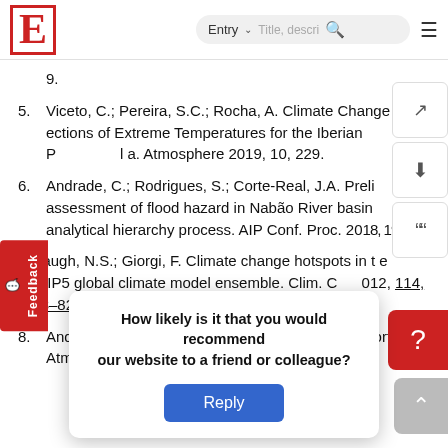E | Entry ∨ Title, descri... 🔍 ≡
9.
5. Viceto, C.; Pereira, S.C.; Rocha, A. Climate Change Projections of Extreme Temperatures for the Iberian Peninsula. Atmosphere 2019, 10, 229.
6. Andrade, C.; Rodrigues, S.; Corte-Real, J.A. Preliminary assessment of flood hazard in Nabão River basin using an analytical hierarchy process. AIP Conf. Proc. 2018, 197.
7. Diffenbaugh, N.S.; Giorgi, F. Climate change hotspots in the CMIP5 global climate model ensemble. Clim. Ch. 2012, 114, 813–822.
8. Andrade, C.; ... multi-model ... Portugal. Atmos...